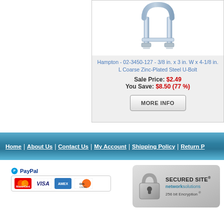[Figure (photo): U-bolt hardware product photo - zinc-plated steel U-bolt]
Hampton - 02-3450-127 - 3/8 in. x 3 in. W x 4-1/8 in. L Coarse Zinc-Plated Steel U-Bolt
Sale Price: $2.49
You Save: $8.50 (77 %)
MORE INFO
Home | About Us | Contact Us | My Account | Shipping Policy | Return P...
[Figure (logo): PayPal and credit card logos: MasterCard, VISA, American Express, Discover]
[Figure (logo): Secured Site - Network Solutions 256 bit Encryption badge]